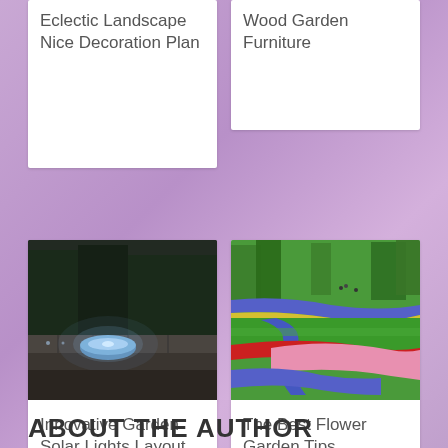Eclectic Landscape Nice Decoration Plan
Wood Garden Furniture
[Figure (photo): Night garden with solar light bowl on stone ledge, dark atmospheric lighting]
Innovative Garden Solar Lights Layout
[Figure (photo): Colorful flower garden with winding paths of red tulips, pink flowers, blue muscari, and yellow flowers at Keukenhof gardens]
The Best Flower Garden Tips
ABOUT THE AUTHOR